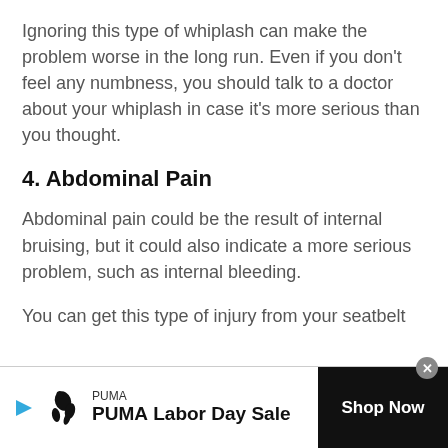Ignoring this type of whiplash can make the problem worse in the long run. Even if you don't feel any numbness, you should talk to a doctor about your whiplash in case it's more serious than you thought.
4. Abdominal Pain
Abdominal pain could be the result of internal bruising, but it could also indicate a more serious problem, such as internal bleeding.
You can get this type of injury from your seatbelt
[Figure (other): PUMA advertisement banner with play icon, PUMA leaping cat logo, 'PUMA Labor Day Sale' text, and 'Shop Now' button on black background. Close button (x) in top right corner.]